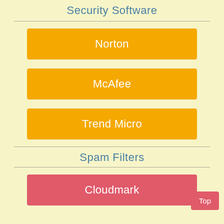Security Software
Norton
McAfee
Trend Micro
Spam Filters
Cloudmark
Top